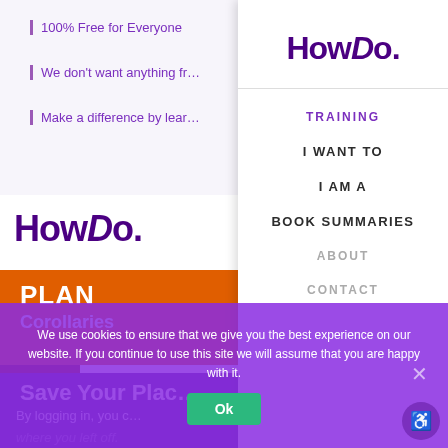100% Free for Everyone
We don't want anything fr…
Make a difference by lear…
HowDo.
PLAN
Corollaries
HowDo.
TRAINING
I WANT TO
I AM A
BOOK SUMMARIES
ABOUT
CONTACT
Save Your Plac…
By logging in, you c…
where you left off.
We use cookies to ensure that we give you the best experience on our website. If you continue to use this site we will assume that you are happy with it.
Ok